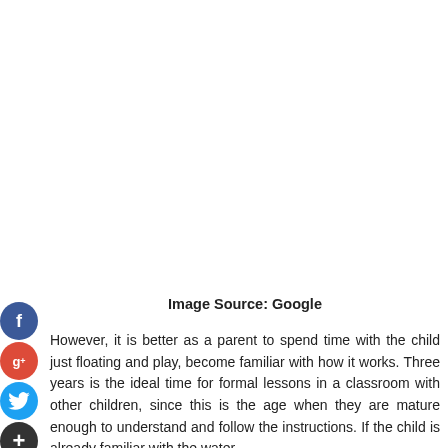[Figure (photo): White/blank image area at the top of the page (image not visible in this crop)]
Image Source: Google
However, it is better as a parent to spend time with the child just floating and play, become familiar with how it works. Three years is the ideal time for formal lessons in a classroom with other children, since this is the age when they are mature enough to understand and follow the instructions. If the child is already familiar with the water,